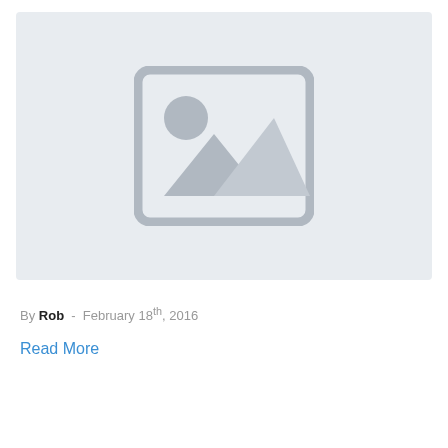[Figure (illustration): Placeholder image with grey background showing a generic image icon (rectangle with rounded corners, a circle sun and mountain silhouettes in grey)]
By Rob - February 18th, 2016
Read More